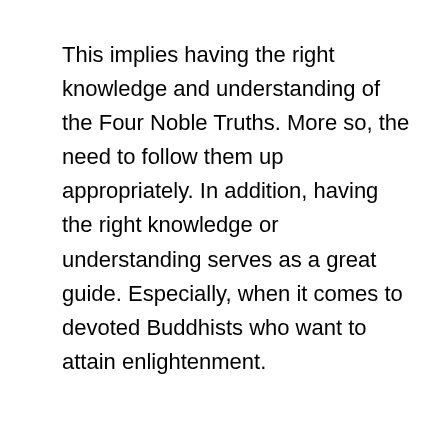This implies having the right knowledge and understanding of the Four Noble Truths. More so, the need to follow them up appropriately. In addition, having the right knowledge or understanding serves as a great guide. Especially, when it comes to devoted Buddhists who want to attain enlightenment.